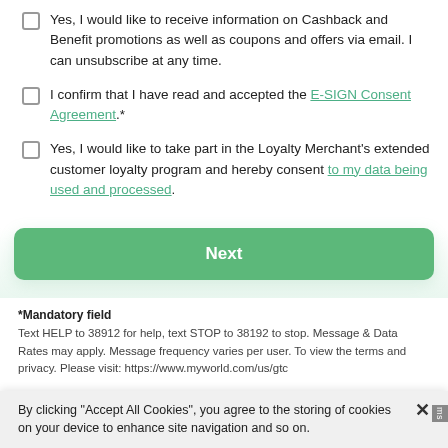Yes, I would like to receive information on Cashback and Benefit promotions as well as coupons and offers via email. I can unsubscribe at any time.
I confirm that I have read and accepted the E-SIGN Consent Agreement.*
Yes, I would like to take part in the Loyalty Merchant's extended customer loyalty program and hereby consent to my data being used and processed.
Next
*Mandatory field
Text HELP to 38912 for help, text STOP to 38192 to stop. Message & Data Rates may apply. Message frequency varies per user. To view the terms and privacy. Please visit: https://www.myworld.com/us/gtc
By clicking "Accept All Cookies", you agree to the storing of cookies on your device to enhance site navigation and so on.